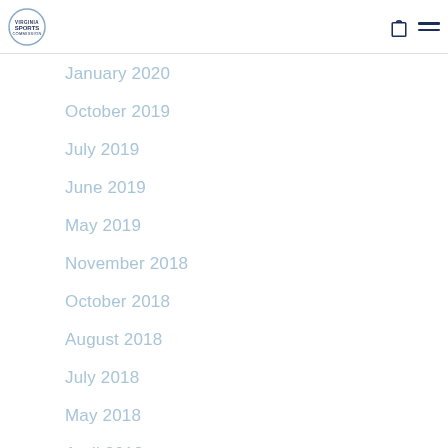Sports Commission logo, shopping bag icon, hamburger menu
January 2020
October 2019
July 2019
June 2019
May 2019
November 2018
October 2018
August 2018
July 2018
May 2018
April 2018